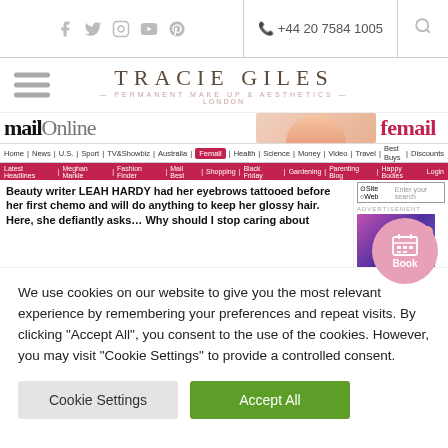Social icons: Facebook, Twitter, Instagram, YouTube, Pinterest | +44 20 7584 1005 | Search
TRACIE GILES — PERMANENT MAKE UP & AESTHETICS — LONDON
[Figure (screenshot): Screenshot of Daily Mail Online / femail article: Beauty writer LEAH HARDY had her eyebrows tattooed before her first chemo and will do anything to keep her glossy hair. Here, she defiantly asks… Why should I stop caring about]
We use cookies on our website to give you the most relevant experience by remembering your preferences and repeat visits. By clicking "Accept All", you consent to the use of the cookies. However, you may visit "Cookie Settings" to provide a controlled consent.
Cookie Settings
Accept All